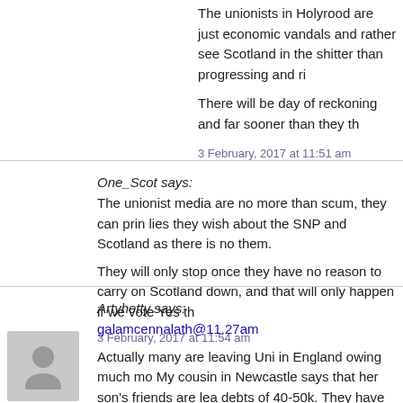The unionists in Holyrood are just economic vandals and rather see Scotland in the shitter than progressing and ri…
There will be day of reckoning and far sooner than they th…
3 February, 2017 at 11:51 am
One_Scot says:
The unionist media are no more than scum, they can prin… lies they wish about the SNP and Scotland as there is no… them.
They will only stop once they have no reason to carry on… Scotland down, and that will only happen if we vote Yes th…
3 February, 2017 at 11:54 am
Artyhetty says:
galamcennalath@11.27am
Actually many are leaving Uni in England owing much mo… My cousin in Newcastle says that her son's friends are lea… debts of 40-50k. They have to take loans to live and then… on top. I heard someone recently who said that h… had no debt, not actually taking into account her s…